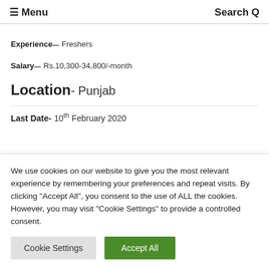☰ Menu  Search Q
Experience– Freshers
Salary– Rs.10,300-34,800/-month
Location– Punjab
Last Date– 10th February 2020
We use cookies on our website to give you the most relevant experience by remembering your preferences and repeat visits. By clicking "Accept All", you consent to the use of ALL the cookies. However, you may visit "Cookie Settings" to provide a controlled consent.
Cookie Settings  Accept All